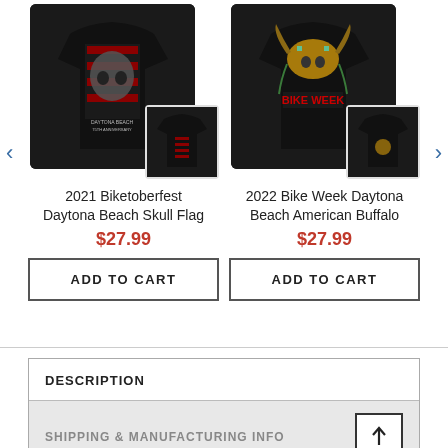[Figure (photo): Product image of 2021 Biketoberfest Daytona Beach Skull Flag t-shirt (front large view + back small thumbnail), dark/black shirt]
2021 Biketoberfest Daytona Beach Skull Flag
$27.99
ADD TO CART
[Figure (photo): Product image of 2022 Bike Week Daytona Beach American Buffalo t-shirt (front large view + back small thumbnail), dark/black shirt]
2022 Bike Week Daytona Beach American Buffalo
$27.99
ADD TO CART
DESCRIPTION
SHIPPING & MANUFACTURING INFO
Ohio Bike Week A Pirates Life For Me